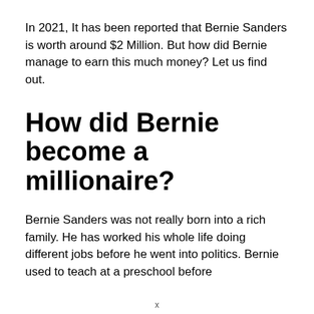In 2021, It has been reported that Bernie Sanders is worth around $2 Million. But how did Bernie manage to earn this much money? Let us find out.
How did Bernie become a millionaire?
Bernie Sanders was not really born into a rich family. He has worked his whole life doing different jobs before he went into politics. Bernie used to teach at a preschool before
x